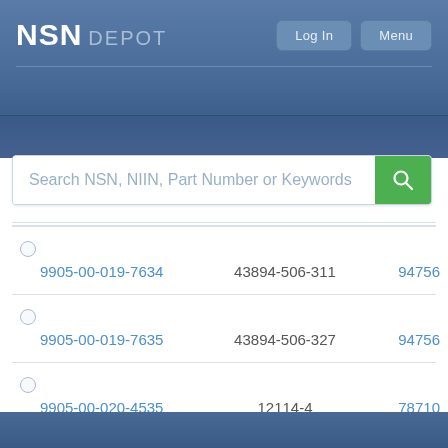NSN DEPOT
Search NSN, NIIN, Part Number or Keywords
| NSN | Part Number | CAGE |
| --- | --- | --- |
| 9905-00-019-7634 | 43894-506-311 | 94756 |
| 9905-00-019-7635 | 43894-506-327 | 94756 |
| 9905-00-020-4535 | 12114-4 | 78710 |